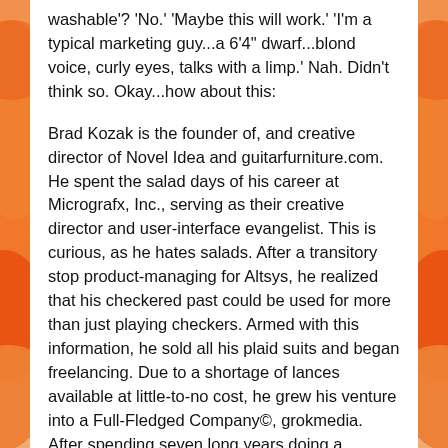washable'? 'No.' 'Maybe this will work.' 'I'm a typical marketing guy...a 6'4" dwarf...blond voice, curly eyes, talks with a limp.' Nah. Didn't think so. Okay...how about this:
Brad Kozak is the founder of, and creative director of Novel Idea and guitarfurniture.com. He spent the salad days of his career at Micrografx, Inc., serving as their creative director and user-interface evangelist. This is curious, as he hates salads. After a transitory stop product-managing for Altsys, he realized that his checkered past could be used for more than just playing checkers. Armed with this information, he sold all his plaid suits and began freelancing. Due to a shortage of lances available at little-to-no cost, he grew his venture into a Full-Fledged Company©, grokmedia. After spending seven long years doing a penance to the Lord in